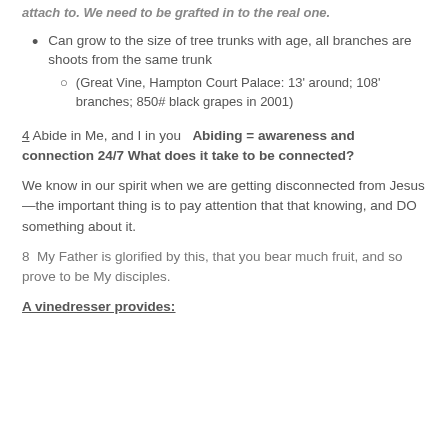attach to. We need to be grafted in to the real one.
Can grow to the size of tree trunks with age, all branches are shoots from the same trunk
(Great Vine, Hampton Court Palace: 13' around; 108' branches; 850# black grapes in 2001)
4 Abide in Me, and I in you   Abiding = awareness and connection 24/7 What does it take to be connected?
We know in our spirit when we are getting disconnected from Jesus—the important thing is to pay attention that that knowing, and DO something about it.
8  My Father is glorified by this, that you bear much fruit, and so prove to be My disciples.
A vinedresser provides: